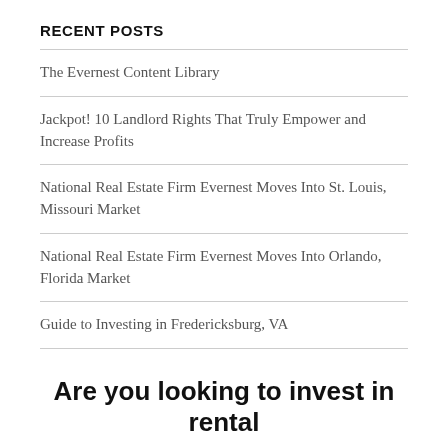RECENT POSTS
The Evernest Content Library
Jackpot! 10 Landlord Rights That Truly Empower and Increase Profits
National Real Estate Firm Evernest Moves Into St. Louis, Missouri Market
National Real Estate Firm Evernest Moves Into Orlando, Florida Market
Guide to Investing in Fredericksburg, VA
7 Best Property Management Companies in Richmond
Are you looking to invest in rental